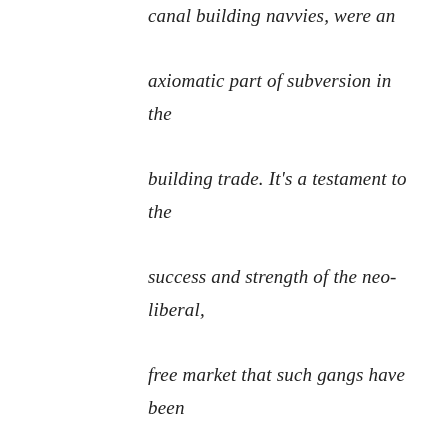canal building navvies, were an axiomatic part of subversion in the building trade. It's a testament to the success and strength of the neo-liberal, free market that such gangs have been virtually vanquished by capital.

I would guess this was the type of Lump situation Dave Lamb was involved with though, most likely he wasn't involved with it for too long. After writing The Lump pamphlet, it seems he progressively abandoned a life on the